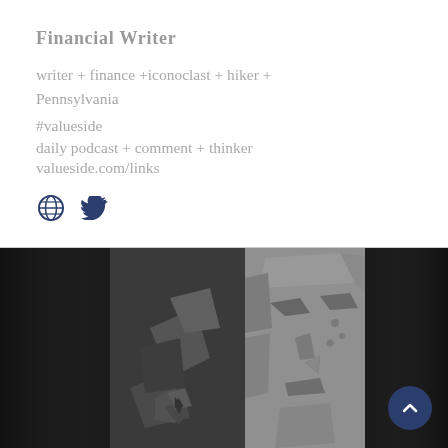Financial Writer
writer + finance +iconoclast + hiker + Pennsylvania
#valueside
daily podcast + comment + thinker
valueside.com/links
[Figure (illustration): Globe and Twitter bird icons in dark navy blue]
[Figure (photo): Black and white artistic photo showing abstract geometric face fragments, split image of a woman's face made from polygonal/faceted shapes]